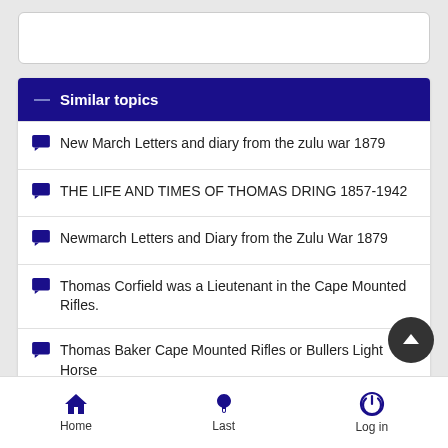— Similar topics
New March Letters and diary from the zulu war 1879
THE LIFE AND TIMES OF THOMAS DRING 1857-1942
Newmarch Letters and Diary from the Zulu War 1879
Thomas Corfield was a Lieutenant in the Cape Mounted Rifles.
Thomas Baker Cape Mounted Rifles or Bullers Light Horse
Home  Last  Log in